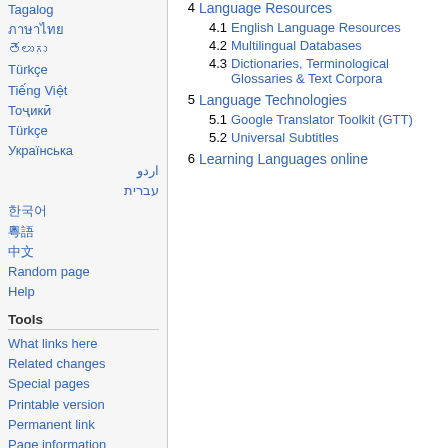Tagalog
ไทย
తెలుగు
Türkçe
Tiếng Việt
Тоҷикӣ
Türkçe
Українська
اردو
עברית
한국어
粵語
中文
Random page
Help
Tools
What links here
Related changes
Special pages
Printable version
Permanent link
Page information
4 Language Resources
4.1 English Language Resources
4.2 Multilingual Databases
4.3 Dictionaries, Terminological Glossaries & Text Corpora
5 Language Technologies
5.1 Google Translator Toolkit (GTT)
5.2 Universal Subtitles
6 Learning Languages online